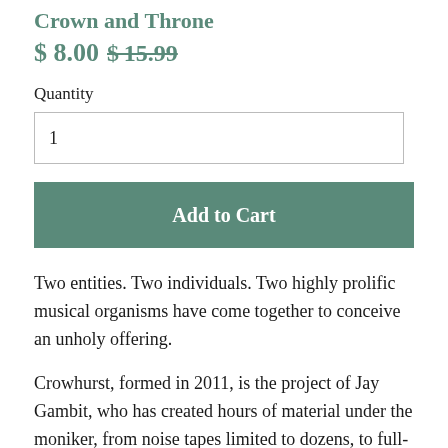Crown and Throne
$ 8.00  $15.99
Quantity
1
Add to Cart
Two entities. Two individuals. Two highly prolific musical organisms have come together to conceive an unholy offering.
Crowhurst, formed in 2011, is the project of Jay Gambit, who has created hours of material under the moniker, from noise tapes limited to dozens, to full-